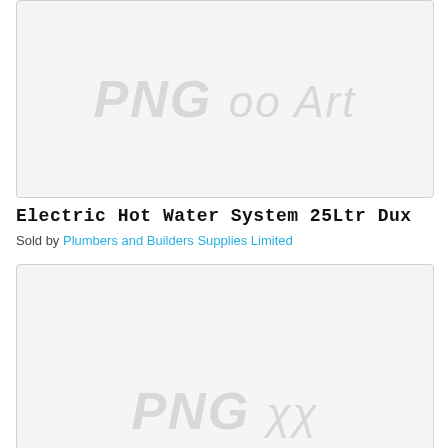[Figure (other): Product image placeholder with PNG watermark text, light gray background with border]
Electric Hot Water System 25Ltr Dux
Sold by Plumbers and Builders Supplies Limited
[Figure (other): Second product image placeholder with PNG watermark text, light gray background with border]